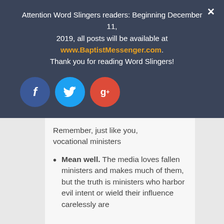Attention Word Slingers readers: Beginning December 11, 2019, all posts will be available at www.BaptistMessenger.com. Thank you for reading Word Slingers!
[Figure (infographic): Three social media share buttons: Facebook (blue circle with 'f'), Twitter (light blue circle with bird icon), Google+ (red circle with 'g+')]
Remember, just like you, vocational ministers
Mean well. The media loves fallen ministers and makes much of them, but the truth is ministers who harbor evil intent or wield their influence carelessly are
Share This